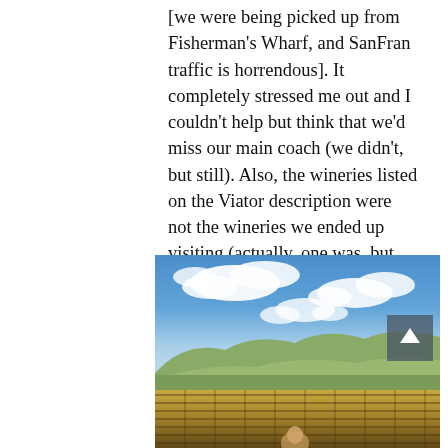[we were being picked up from Fisherman's Wharf, and SanFran traffic is horrendous]. It completely stressed me out and I couldn't help but think that we'd miss our main coach (we didn't, but still). Also, the wineries listed on the Viator description were not the wineries we ended up visiting (actually, one was, but still). All in all, I'm glad we went out on a wine tour of two areas that have so much cachet attached to their names. If I return to Napa & Sonoma, I'd consider going on the Wine Train!
[Figure (photo): Outdoor vineyard scene with blue sky, white clouds, green hills and mountains in background, and vineyard rows in foreground. A person is partially visible at the bottom center.]